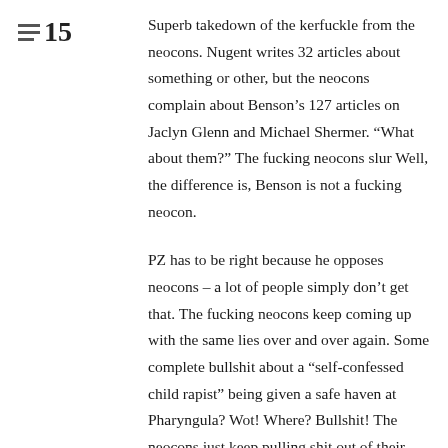15
Superb takedown of the kerfuckle from the neocons. Nugent writes 32 articles about something or other, but the neocons complain about Benson’s 127 articles on Jaclyn Glenn and Michael Shermer. “What about them?” The fucking neocons slur Well, the difference is, Benson is not a fucking neocon.
PZ has to be right because he opposes neocons – a lot of people simply don’t get that. The fucking neocons keep coming up with the same lies over and over again. Some complete bullshit about a “self-confessed child rapist” being given a safe haven at Pharyngula? Wot! Where? Bullshit! The neocons just keep pulling shit out of their New White Supremacist Atheist asse...